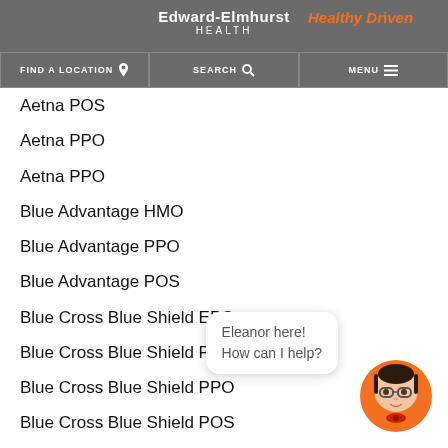Edward-Elmhurst HEALTH | Healthy Driven
FIND A LOCATION | SEARCH | MENU
Aetna Classic POS (partial)
Aetna Medicare Open Standard
Aetna POS
Aetna PPO
Aetna PPO
Blue Advantage HMO
Blue Advantage PPO
Blue Advantage POS
Blue Cross Blue Shield EPO
Blue Cross Blue Shield PPO
Blue Cross Blue Shield PPO
Blue Cross Blue Shield POS
Blue Choice POS
Blue Choice POS
Blue Choice HMO
Blue Choice HMO
[Figure (illustration): Chat bot avatar named Eleanor with speech bubble saying 'Eleanor here! How can I help?']